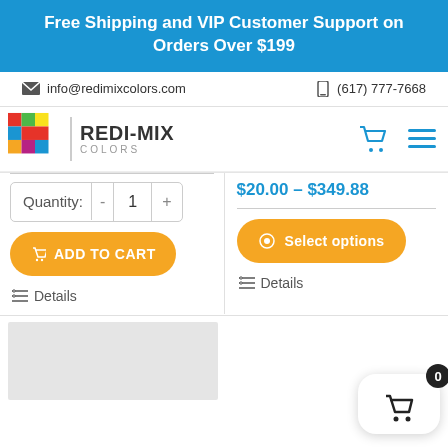Free Shipping and VIP Customer Support on Orders Over $199
info@redimixcolors.com  (617) 777-7668
[Figure (logo): Redi-Mix Colors logo with colorful grid squares and bold text]
$20.00 – $349.88
Quantity: - 1 +
ADD TO CART
Details
Select options
Details